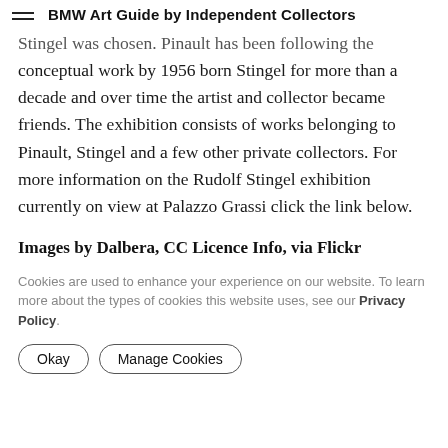BMW Art Guide by Independent Collectors
Stingel was chosen. Pinault has been following the conceptual work by 1956 born Stingel for more than a decade and over time the artist and collector became friends. The exhibition consists of works belonging to Pinault, Stingel and a few other private collectors. For more information on the Rudolf Stingel exhibition currently on view at Palazzo Grassi click the link below.
Images by Dalbera, CC Licence Info, via Flickr
Cookies are used to enhance your experience on our website. To learn more about the types of cookies this website uses, see our Privacy Policy.
Okay   Manage Cookies